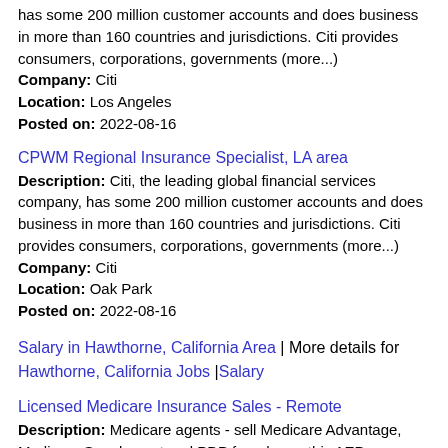has some 200 million customer accounts and does business in more than 160 countries and jurisdictions. Citi provides consumers, corporations, governments (more...)
Company: Citi
Location: Los Angeles
Posted on: 2022-08-16
CPWM Regional Insurance Specialist, LA area
Description: Citi, the leading global financial services company, has some 200 million customer accounts and does business in more than 160 countries and jurisdictions. Citi provides consumers, corporations, governments (more...)
Company: Citi
Location: Oak Park
Posted on: 2022-08-16
Salary in Hawthorne, California Area | More details for Hawthorne, California Jobs |Salary
Licensed Medicare Insurance Sales - Remote
Description: Medicare agents - sell Medicare Advantage, Medicare Supplement and PDP from home this AEP Assurance is looking for licensed and experienced insurance sales agents to help Medicare beneficiaries find (more...)
Company: ASSURANCE Independent Agents
Location: Bell Gardens
Posted on: 2022-08-13